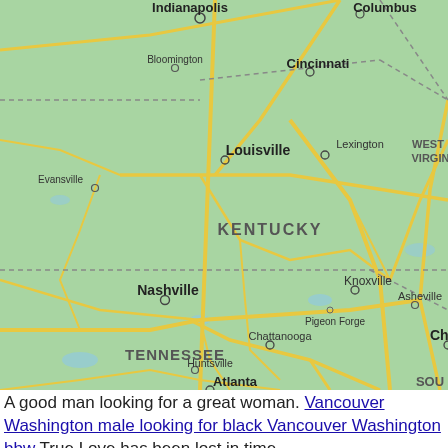[Figure (map): Road map showing Kentucky, Tennessee, and surrounding states including parts of Indiana, Ohio, West Virginia, North Carolina, and northern Alabama/Georgia. Cities shown include Indianapolis, Bloomington, Columbus, Cincinnati, Louisville, Lexington, Evansville, Nashville, Knoxville, Pigeon Forge, Asheville, Chattanooga, Huntsville, Atlanta, Charlotte. State labels: KENTUCKY, TENNESSEE, WEST VIRGINIA, SOU(TH CAROLINA implied).]
A good man looking for a great woman. Vancouver Washington male looking for black Vancouver Washington bbw True Love has been lost in time.
[Figure (photo): Three photographs of women side by side at the bottom of the page.]